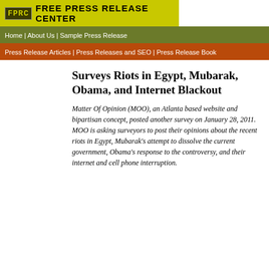FPRC FREE PRESS RELEASE CENTER
Home | About Us | Sample Press Release
Press Release Articles | Press Releases and SEO | Press Release Book
Surveys Riots in Egypt, Mubarak, Obama, and Internet Blackout
Matter Of Opinion (MOO), an Atlanta based website and bipartisan concept, posted another survey on January 28, 2011. MOO is asking surveyors to post their opinions about the recent riots in Egypt, Mubarak's attempt to dissolve the current government, Obama's response to the controversy, and their internet and cell phone interruption.